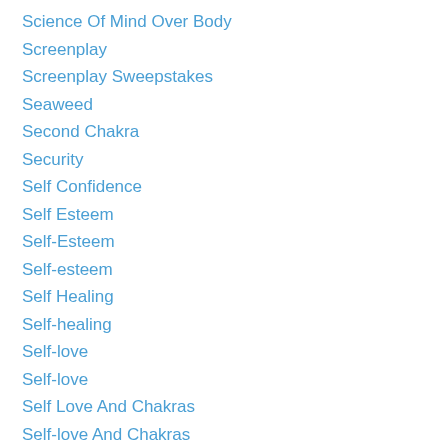Science Of Mind Over Body
Screenplay
Screenplay Sweepstakes
Seaweed
Second Chakra
Security
Self Confidence
Self Esteem
Self-Esteem
Self-esteem
Self Healing
Self-healing
Self-love
Self-love
Self Love And Chakras
Self-love And Chakras
Selp-Help To Relieve Stress
Sensuality
Sequel To The Chakra Diaries
Serge Kahili King
Serge Kahili King On Stre…